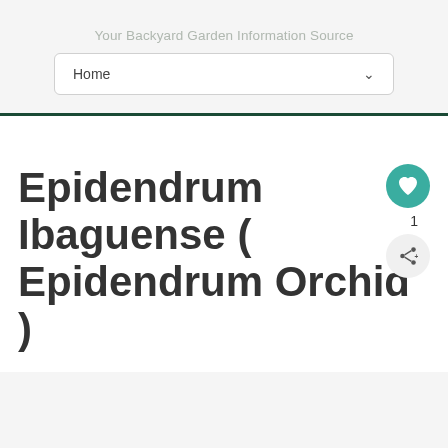Your Backyard Garden Information Source
Home
Epidendrum Ibaguense ( Epidendrum Orchid )